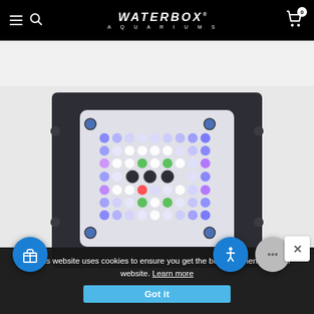WATERBOX AQUARIUMS — Navigation bar with hamburger menu, search icon, logo, and cart (0 items)
[Figure (photo): LED aquarium light panel (Waterbox Aquariums product) viewed from above, showing a dark rectangular frame with a white LED array containing multiple colored LEDs in blue, purple, green, red, and white arranged in a grid pattern on a light-colored panel]
🍪 This website uses cookies to ensure you get the best experience on our website. Learn more
Got it